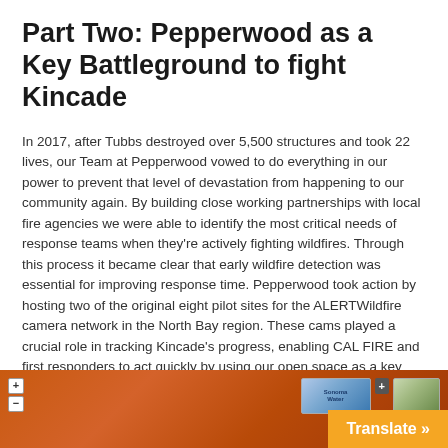Part Two: Pepperwood as a Key Battleground to fight Kincade
In 2017, after Tubbs destroyed over 5,500 structures and took 22 lives, our Team at Pepperwood vowed to do everything in our power to prevent that level of devastation from happening to our community again. By building close working partnerships with local fire agencies we were able to identify the most critical needs of response teams when they're actively fighting wildfires. Through this process it became clear that early wildfire detection was essential for improving response time. Pepperwood took action by hosting two of the original eight pilot sites for the ALERTWildfire camera network in the North Bay region. These cams played a crucial role in tracking Kincade's progress, enabling CAL FIRE and first responders to act quickly by using our open space as a key battleground.
[Figure (photo): A red-orange fire/smoke landscape image at the bottom of the page, with a small map thumbnail overlay in the upper right corner showing 'Sonoma Water' label, and a 'Translate »' button in orange at the bottom right.]